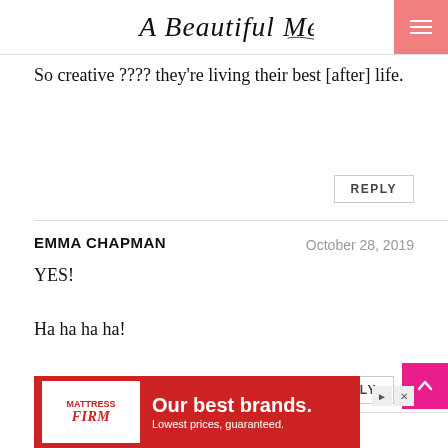A Beautiful Mess
So creative ???? they're living their best [after] life.
REPLY
EMMA CHAPMAN    October 28, 2019
YES!

Ha ha ha ha!
REPLY
[Figure (screenshot): Mattress Firm advertisement banner: red background with white text 'Our best brands. Lowest prices, guaranteed.' and Mattress Firm logo on white box.]